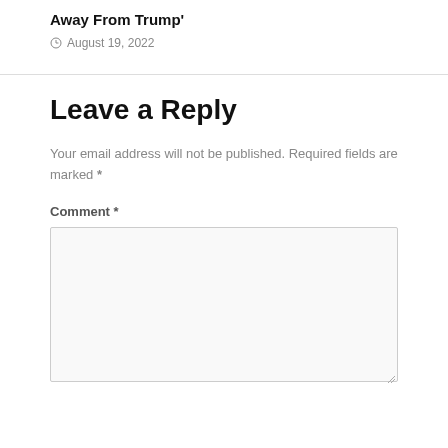Away From Trump'
August 19, 2022
Leave a Reply
Your email address will not be published. Required fields are marked *
Comment *